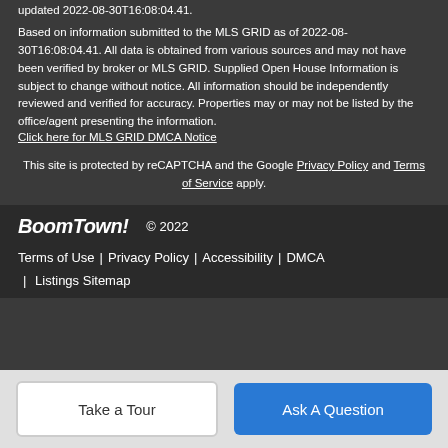updated 2022-08-30T16:08:04.41.
Based on information submitted to the MLS GRID as of 2022-08-30T16:08:04.41. All data is obtained from various sources and may not have been verified by broker or MLS GRID. Supplied Open House Information is subject to change without notice. All information should be independently reviewed and verified for accuracy. Properties may or may not be listed by the office/agent presenting the information.
Click here for MLS GRID DMCA Notice
This site is protected by reCAPTCHA and the Google Privacy Policy and Terms of Service apply.
BoomTown! © 2022 | Terms of Use | Privacy Policy | Accessibility | DMCA | Listings Sitemap
Take a Tour
Ask A Question